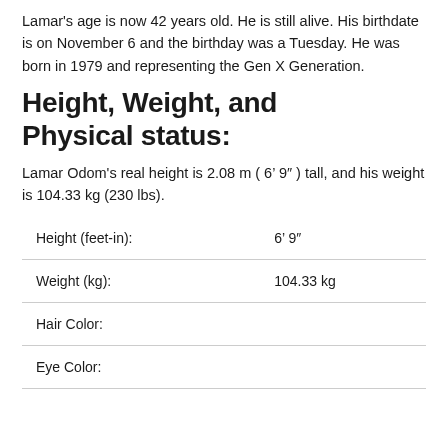Lamar's age is now 42 years old. He is still alive. His birthdate is on November 6 and the birthday was a Tuesday. He was born in 1979 and representing the Gen X Generation.
Height, Weight, and Physical status:
Lamar Odom's real height is 2.08 m ( 6' 9" ) tall, and his weight is 104.33 kg (230 lbs).
| Height (feet-in): | 6’ 9″ |
| Weight (kg): | 104.33 kg |
| Hair Color: |  |
| Eye Color: |  |